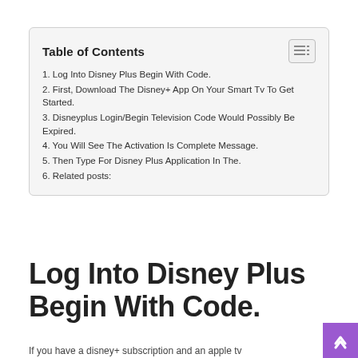Table of Contents
1. Log Into Disney Plus Begin With Code.
2. First, Download The Disney+ App On Your Smart Tv To Get Started.
3. Disneyplus Login/Begin Television Code Would Possibly Be Expired.
4. You Will See The Activation Is Complete Message.
5. Then Type For Disney Plus Application In The.
6. Related posts:
Log Into Disney Plus Begin With Code.
If you have a disney+ subscription and an apple tv